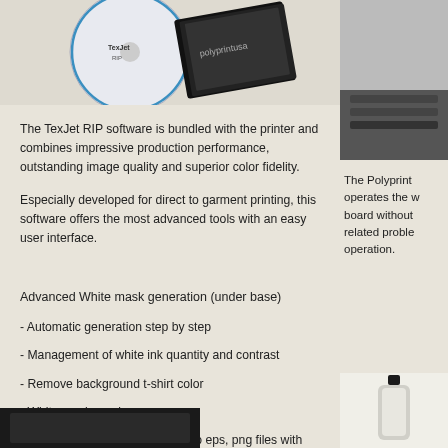[Figure (photo): Product photo showing TexJet RIP software disc and packaging with black box]
[Figure (photo): Partial right-side photo showing dark printer or device surface]
The TexJet RIP software is bundled with the printer and combines impressive production performance, outstanding image quality and superior color fidelity.
Especially developed for direct to garment printing, this software offers the most advanced tools with an easy user interface.
The Polyprint operates the w board without related proble operation.
Advanced White mask generation (under base)
- Automatic generation step by step
- Management of white ink quantity and contrast
- Remove background t-shirt color
- White mask preview
- Supports jpeg, tiff, bmp and also eps, png files with transparency
[Figure (photo): Bottom left: dark printer device photo]
[Figure (photo): Bottom right: bottle or canister product photo]